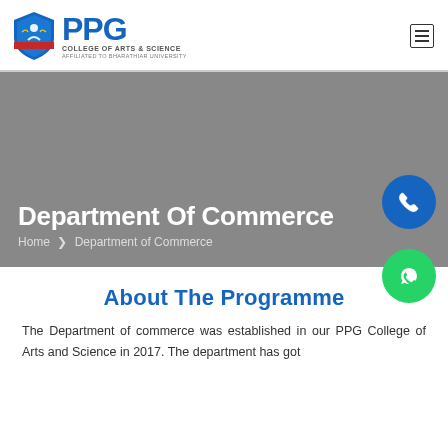PPG College of Arts & Science - Affiliated to Bharathiar University
Department Of Commerce
Home  ❯  Department of Commerce
About The Programme
The Department of commerce was established in our PPG College of Arts and Science in 2017. The department has got